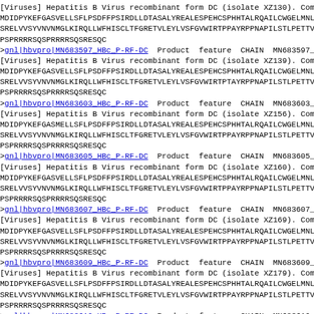[Viruses] Hepatitis B Virus recombinant form DC (isolate XZ130). Compl
MDIDPYKEFGASVELLSFLPSDFFPSIRDLLDTASALYREALESPEHCSPHHTALRQAILCWGELMNLAT
SRELVVSYVNVNMGLKIRQLLWFHISCLTFGRETVLEYLVSFGVWIRTPPAYRPPNAPILSTLPETTVVR
PSPRRRRSQSPRRRRSQSRESQC
>gnl|hbvpro|MN683597_HBc_P-RF-DC  Product  feature  CHAIN  MN683597_HB
[Viruses] Hepatitis B Virus recombinant form DC (isolate XZ139). Compl
MDIDPYKEFGASVELLSFLPSDFFPSIRDLLDTASALYREALESPEHCSPHHTALRQAILCWGELMNLAT
SRELVVSYVNVNMGLKIRQLLWFHISCLTFGRETVLEYLVSFGVWIRTPTAYRPPNAPILSTLPETTVVR
PSPRRRRSQSPRRRRSQSRESQC
>gnl|hbvpro|MN683603_HBc_P-RF-DC  Product  feature  CHAIN  MN683603_HB
[Viruses] Hepatitis B Virus recombinant form DC (isolate XZ156). Compl
MDIDPYKEFGASMELLSFLPSDFFPSIRDLLDTASALYREALESPEHCSPHHTALRQAILCWGELMNLAT
SRELVVSYVNVNMGLKIRQLLWFHISCLTFGRETVLEYLVSFGVWIRTPPAYRPPNAPILSTLPETTVVR
PSPRRRRSQSPRRRRSQSRESQC
>gnl|hbvpro|MN683605_HBc_P-RF-DC  Product  feature  CHAIN  MN683605_HB
[Viruses] Hepatitis B Virus recombinant form DC (isolate XZ160). Compl
MDIDPYKEFGASVELLSFLPSDFFPSIRDLLDTASALYREALESPEHCSPHHTALRQAILCWGELMNLAT
SRELVVSYVNVNMGLKIRQLLWFHISCLTFGRETVLEYLVSFGVWIRTPPAYRPPNAPILSTLPETTVVR
PSPRRRRSQSPRRRRSQSRESQC
>gnl|hbvpro|MN683607_HBc_P-RF-DC  Product  feature  CHAIN  MN683607_HB
[Viruses] Hepatitis B Virus recombinant form DC (isolate XZ169). Compl
MDIDPYKEFGASVELLSFLPSDFFPSIRDLLDTASALYREALESPEHCSPHHTALRQAILCWGELMNLAT
SRELVVSYVNVNMGLKIRQLLWFHISCLTFGRETVLEYLVSFGVWIRTPPAYRPPNAPILSTLPETTVVR
PSPRRRRSQSPRRRRSQSRESQC
>gnl|hbvpro|MN683609_HBc_P-RF-DC  Product  feature  CHAIN  MN683609_HB
[Viruses] Hepatitis B Virus recombinant form DC (isolate XZ179). Compl
MDIDPYKEFGASVELLSFLPSDFFPSIRDLLDTASALYREALESPEHCSPHHTALRQAILCWGELMNLAT
SRELVVSYVNVNMGLKIRQLLWFHISCLTFGRETVLEYLVSFGVWIRTPPAYRPPNAPILSTLPETTVVR
PSPRRRRSQSPRRRRSQSRESQC
>gnl|hbvpro|MN683610_HBc_P-RF-DC  Product  feature  CHAIN  MN683610_HB
[Viruses] Hepatitis B Virus recombinant form DC (isolate XZ180). Comp